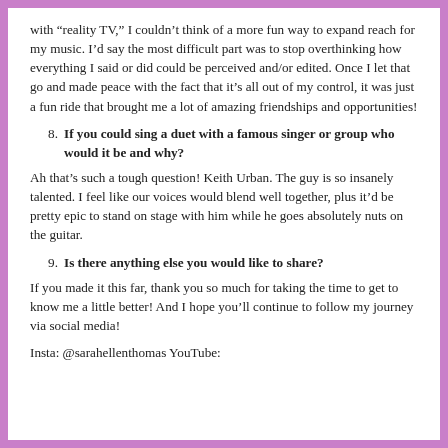with “reality TV,” I couldn’t think of a more fun way to expand reach for my music. I’d say the most difficult part was to stop overthinking how everything I said or did could be perceived and/or edited. Once I let that go and made peace with the fact that it’s all out of my control, it was just a fun ride that brought me a lot of amazing friendships and opportunities!
8. If you could sing a duet with a famous singer or group who would it be and why?
Ah that’s such a tough question! Keith Urban. The guy is so insanely talented. I feel like our voices would blend well together, plus it’d be pretty epic to stand on stage with him while he goes absolutely nuts on the guitar.
9. Is there anything else you would like to share?
If you made it this far, thank you so much for taking the time to get to know me a little better! And I hope you’ll continue to follow my journey via social media!
Insta: @sarahellenthomas YouTube: